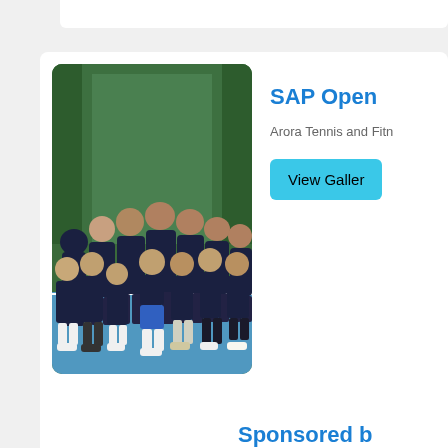[Figure (photo): Partial view of a photo strip at the very top of the page, cropped]
[Figure (photo): Group photo of youth tennis players wearing dark navy blue team shirts, standing indoors in front of a green backdrop on a blue tennis court]
SAP Open
Arora Tennis and Fitn
View Galler
Sponsored b